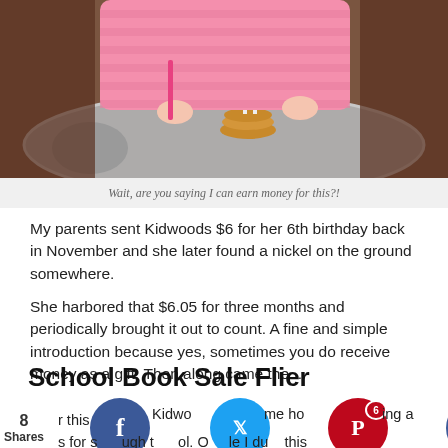[Figure (photo): A young child in pink striped pajamas sitting in a high chair tray, with a small stack of pancakes topped with two birthday candles in front of them. The child holds what appears to be a pink utensil.]
Wait, are you saying I can earn money for this?!
My parents sent Kidwoods $6 for her 6th birthday back in November and she later found a nickel on the ground somewhere.
She harbored that $6.05 for three months and periodically brought it out to count. A fine and simple introduction because yes, sometimes you do receive money as a gift. Then along came the...
School Book Sale Flier
r this Kidwo me ho ing a ertisi s for s ugh t ol. O le I du this
8
Shares